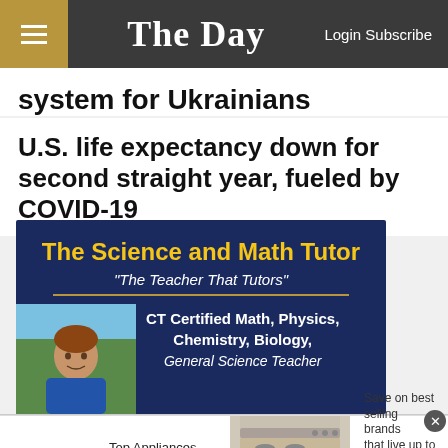The Day — Login Subscribe
system for Ukrainians
U.S. life expectancy down for second straight year, fueled by COVID-19
[Figure (advertisement): The Science and Math Tutor advertisement with dark blue background, yellow title, photo of tutor, listing CT Certified Math, Physics, Chemistry, Biology, General Science Teacher]
[Figure (advertisement): Wayfair advertisement: Top Appliances Low Prices, Save on best selling brands that live up to the hype, Shop now button]